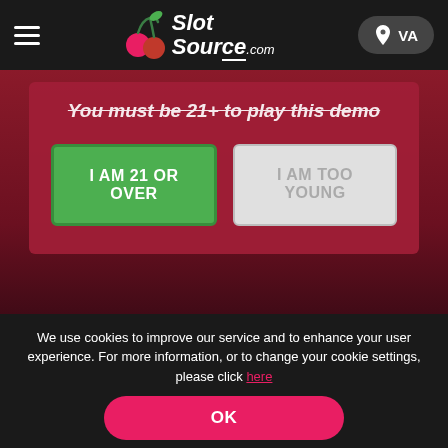SlotSource.com — VA
You must be 21+ to play this demo
I AM 21 OR OVER
I AM TOO YOUNG
This online offer is not available in your state. View available online offers in your state.
We use cookies to improve our service and to enhance your user experience. For more information, or to change your cookie settings, please click here
OK